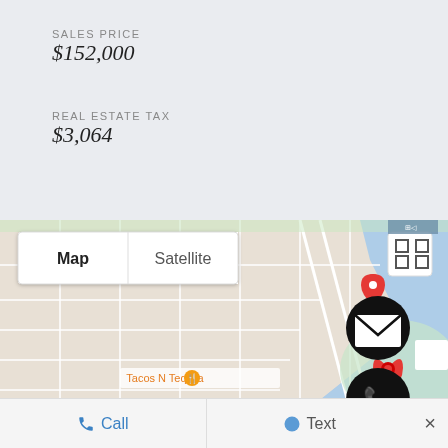SALES PRICE
$152,000
REAL ESTATE TAX
$3,064
[Figure (map): Google Map view showing a location pin near Bishop Park, with street grid, Tacos N Tequila, Oak St labels, and waterfront. Map/Satellite toggle button and expand button visible. Email and phone contact icons on right side.]
Call
Text